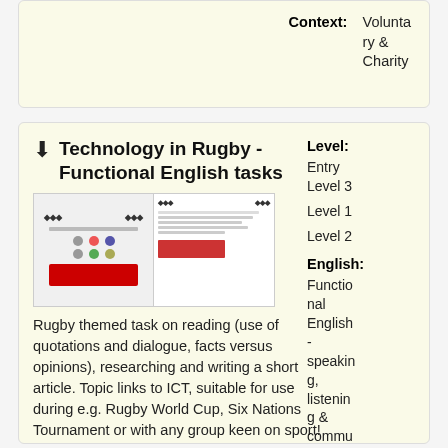Context: Voluntary & Charity
Technology in Rugby - Functional English tasks
[Figure (screenshot): Thumbnail preview of a two-page document about technology in rugby]
Rugby themed task on reading (use of quotations and dialogue, facts versus opinions), researching and writing a short article. Topic links to ICT, suitable for use during e.g. Rugby World Cup, Six Nations Tournament or with any group keen on sport!
[img_assistpid=5708|title=Idesc=|link=p
Level: Entry Level 3
Level 1
Level 2
English: Functional English - speaking, listening & communicating
Functio